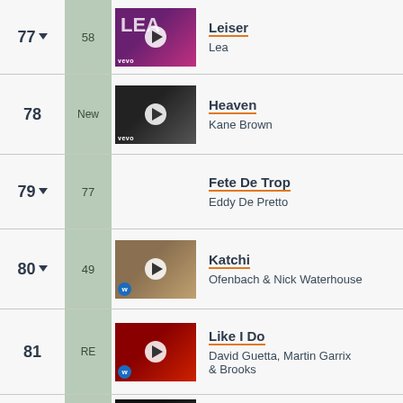77 ▼ | 58 | Leiser | Lea
78 | New | Heaven | Kane Brown
79 ▼ | 77 | Fete De Trop | Eddy De Pretto
80 ▼ | 49 | Katchi | Ofenbach & Nick Waterhouse
81 | RE | Like I Do | David Guetta, Martin Garrix & Brooks
— | — | Wait